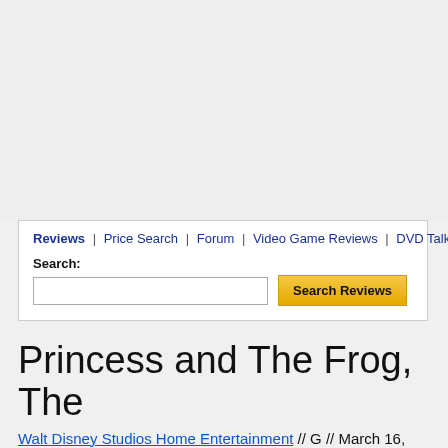[Figure (other): Gray empty area at top of page (navigation/image region placeholder)]
Reviews | Price Search | Forum | Video Game Reviews | DVD Talk
Search: [search input box] [Search Reviews button]
Princess and The Frog, The
Walt Disney Studios Home Entertainment // G // March 16, 2010
List Price: $44.99 [Buy now and save at Amazon]